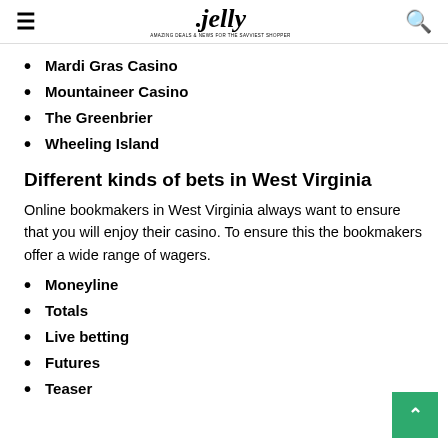jelly
Mardi Gras Casino
Mountaineer Casino
The Greenbrier
Wheeling Island
Different kinds of bets in West Virginia
Online bookmakers in West Virginia always want to ensure that you will enjoy their casino. To ensure this the bookmakers offer a wide range of wagers.
Moneyline
Totals
Live betting
Futures
Teaser